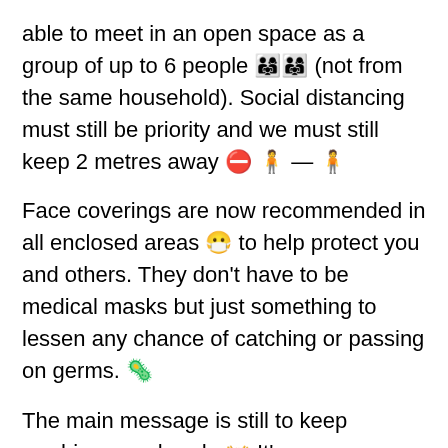able to meet in an open space as a group of up to 6 people 👨‍👩‍👧👨‍👩‍👧 (not from the same household). Social distancing must still be priority and we must still keep 2 metres away 🚫 🧍 — 🧍
Face coverings are now recommended in all enclosed areas 😷 to help protect you and others. They don't have to be medical masks but just something to lessen any chance of catching or passing on germs. 🦠
The main message is still to keep washing your hands 👐 It's recommended you don't wear 🧤gloves but do use anti bacterial wipes, sanitizers or even better wash your hands 👏
You are now allowed out of your homes to do shopping but also to exercise 🚴 as much as you want in an open space